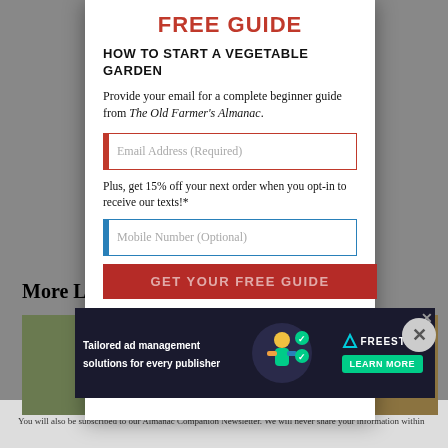FREE GUIDE
HOW TO START A VEGETABLE GARDEN
Provide your email for a complete beginner guide from The Old Farmer's Almanac.
Email Address (Required)
Plus, get 15% off your next order when you opt-in to receive our texts!*
Mobile Number (Optional)
GET YOUR FREE GUIDE
[Figure (screenshot): Advertisement banner: Tailored ad management solutions for every publisher - Freestar, with Learn More button]
You will also be subscribed to our Almanac Companion Newsletter. We will never share your information within